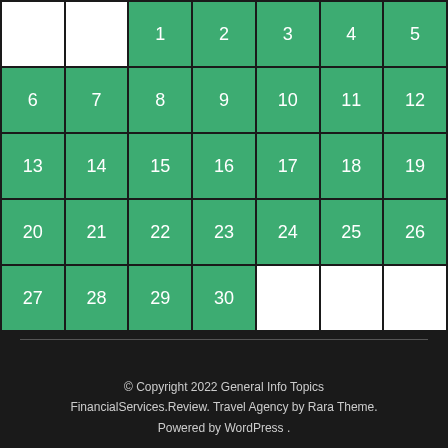|  |  | 1 | 2 | 3 | 4 | 5 |
| 6 | 7 | 8 | 9 | 10 | 11 | 12 |
| 13 | 14 | 15 | 16 | 17 | 18 | 19 |
| 20 | 21 | 22 | 23 | 24 | 25 | 26 |
| 27 | 28 | 29 | 30 |  |  |  |
© Copyright 2022 General Info Topics FinancialServices.Review. Travel Agency by Rara Theme. Powered by WordPress .